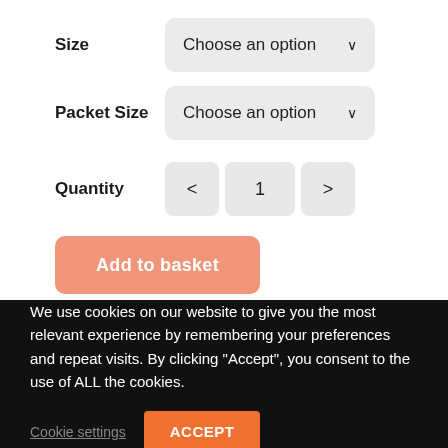Size — Choose an option
Packet Size — Choose an option
Quantity — 1
Add to basket
We use cookies on our website to give you the most relevant experience by remembering your preferences and repeat visits. By clicking "Accept", you consent to the use of ALL the cookies.
Cookie settings
ACCEPT